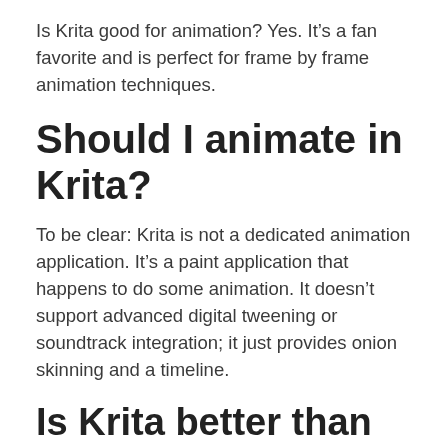Is Krita good for animation? Yes. It’s a fan favorite and is perfect for frame by frame animation techniques.
Should I animate in Krita?
To be clear: Krita is not a dedicated animation application. It’s a paint application that happens to do some animation. It doesn’t support advanced digital tweening or soundtrack integration; it just provides onion skinning and a timeline.
Is Krita better than Adobe animate?